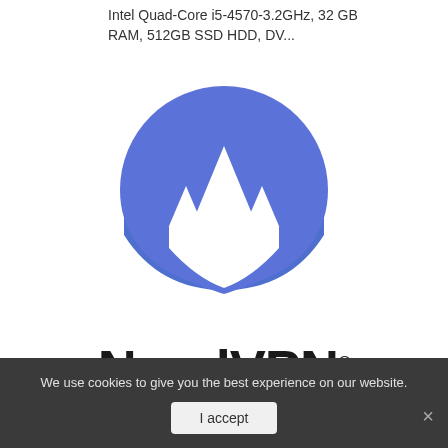Intel Quad-Core i5-4570-3.2GHz, 32 GB RAM, 512GB SSD HDD, DV...
[Figure (logo): NordVPN logo: blue semicircle (arch) with white mountain peaks silhouette inside]
NordVPN®
We use cookies to give you the best experience on our website.
I accept